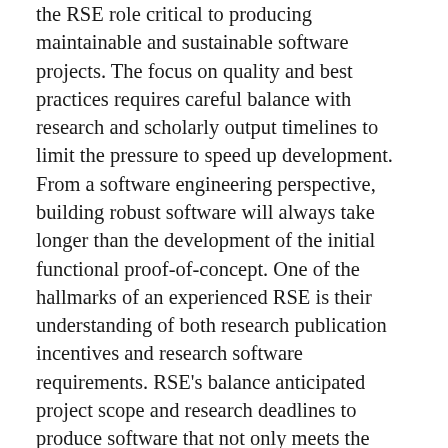the RSE role critical to producing maintainable and sustainable software projects. The focus on quality and best practices requires careful balance with research and scholarly output timelines to limit the pressure to speed up development. From a software engineering perspective, building robust software will always take longer than the development of the initial functional proof-of-concept. One of the hallmarks of an experienced RSE is their understanding of both research publication incentives and research software requirements. RSE's balance anticipated project scope and research deadlines to produce software that not only meets the short-term research needs but is sustainable, maintainable, and extensible. Projects are most successful when timelines and project scope are developed collaboratively and refined continuously to best balance priorities. We strongly encourage communication between partners and both the individual RSEs and the RSE group leadership in the case